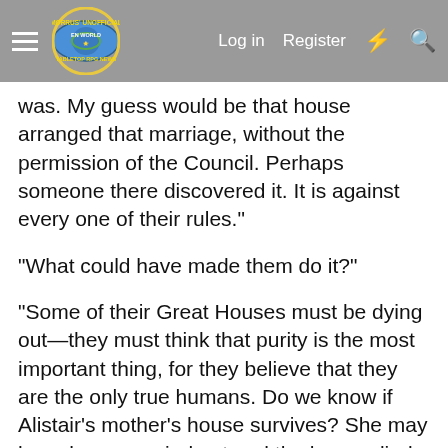Morrus' Unofficial Tabletop RPG News — Log in  Register
was. My guess would be that house arranged that marriage, without the permission of the Council. Perhaps someone there discovered it. It is against every one of their rules."
"What could have made them do it?"
“Some of their Great Houses must be dying out—they must think that purity is the most important thing, for they believe that they are the only true humans. Do we know if Alistair’s mother’s house survives? She may have been married out and the house died out.”
Dame Brionna has been researching Tusslefields: large mine lands; controls the only Canberran entrance to the Underdark (through Gateways). Over half the legions of Canberry consist of soldiers native to Tusslefields.